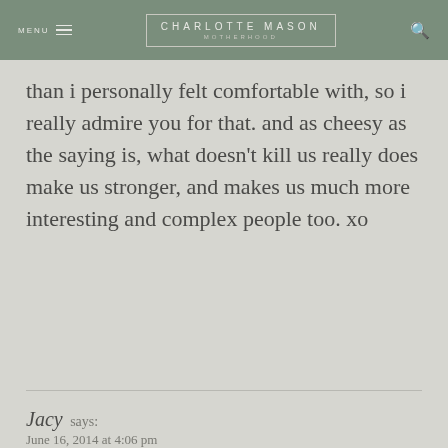MENU | CHARLOTTE MASON MOTHERHOOD
than i personally felt comfortable with, so i really admire you for that. and as cheesy as the saying is, what doesn't kill us really does make us stronger, and makes us much more interesting and complex people too. xo
Reply
Jacy says:
June 16, 2014 at 4:06 pm